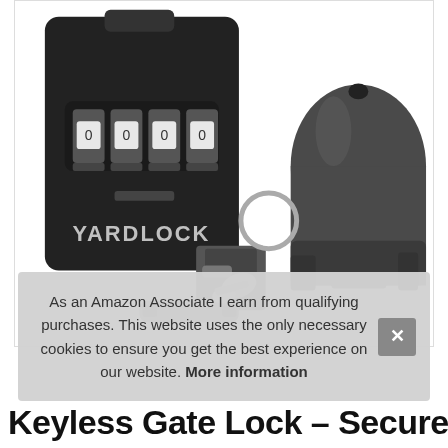[Figure (photo): Product photo of YARDLOCK keyless combination lock box (black, wall-mounted, 4-digit combination dials) alongside accessories including a gate latch mechanism, key ring, and a large dark plastic gate lock housing component, on a white background.]
As an Amazon Associate I earn from qualifying purchases. This website uses the only necessary cookies to ensure you get the best experience on our website. More information
Keyless Gate Lock – Secure Fence